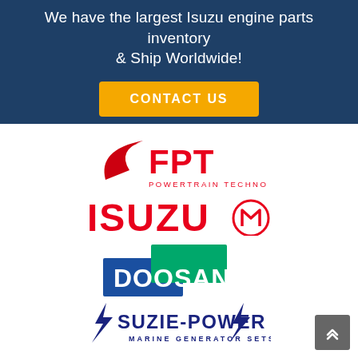We have the largest Isuzu engine parts inventory & Ship Worldwide!
CONTACT US
[Figure (logo): FPT Powertrain Technologies logo - red swoosh with FPT text and 'POWERTRAIN TECHNOLOGIES' subtitle]
[Figure (logo): ISUZU logo in red with circular M mark]
[Figure (logo): DOOSAN logo with blue and green overlapping rectangles]
[Figure (logo): SUZIE-POWER Marine Generator Sets logo with lightning bolts in dark blue]